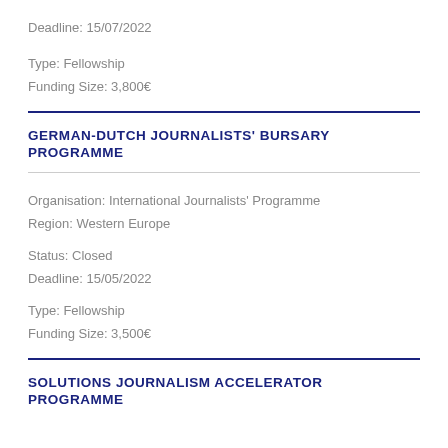Deadline: 15/07/2022
Type: Fellowship
Funding Size: 3,800€
GERMAN-DUTCH JOURNALISTS' BURSARY PROGRAMME
Organisation: International Journalists' Programme
Region: Western Europe
Status: Closed
Deadline: 15/05/2022
Type: Fellowship
Funding Size: 3,500€
SOLUTIONS JOURNALISM ACCELERATOR PROGRAMME